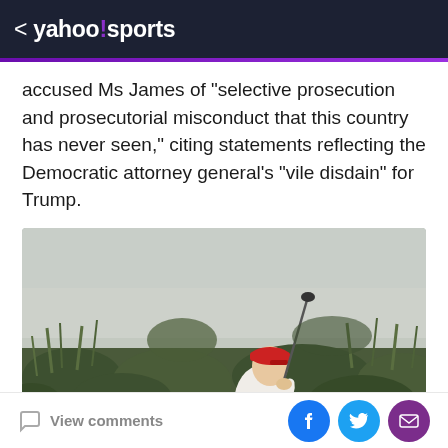< yahoo!sports
accused Ms James of "selective prosecution and prosecutorial misconduct that this country has never seen," citing statements reflecting the Democratic attorney general's "vile disdain" for Trump.
[Figure (photo): A person wearing a white shirt, khaki pants, and a red cap swinging a golf club on a golf course surrounded by tall grass and overcast sky.]
View comments